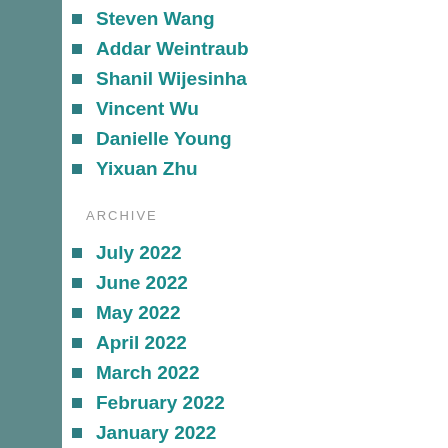Steven Wang
Addar Weintraub
Shanil Wijesinha
Vincent Wu
Danielle Young
Yixuan Zhu
ARCHIVE
July 2022
June 2022
May 2022
April 2022
March 2022
February 2022
January 2022
December 2021
November 2021
October 2021
September 2021
August 2021
July 2021